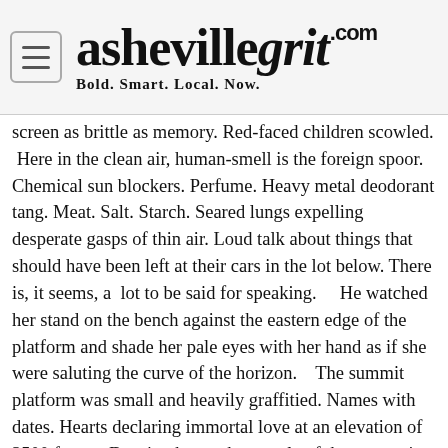ashevillegrit.com — Bold. Smart. Local. Now.
screen as brittle as memory. Red-faced children scowled. Here in the clean air, human-smell is the foreign spoor. Chemical sun blockers. Perfume. Heavy metal deodorant tang. Meat. Salt. Starch. Seared lungs expelling desperate gasps of thin air. Loud talk about things that should have been left at their cars in the lot below. There is, it seems, a lot to be said for speaking.     He watched her stand on the bench against the eastern edge of the platform and shade her pale eyes with her hand as if she were saluting the curve of the horizon.     The summit platform was small and heavily graffitied. Names with dates. Hearts declaring immortal love at an elevation of 3500 feet..     Despite the weak struggle of the sun against the clouds, the rocks were warm. The rhododendron leaves lifted and flagged lethargically, scintillating gilded green like fish tilting as a